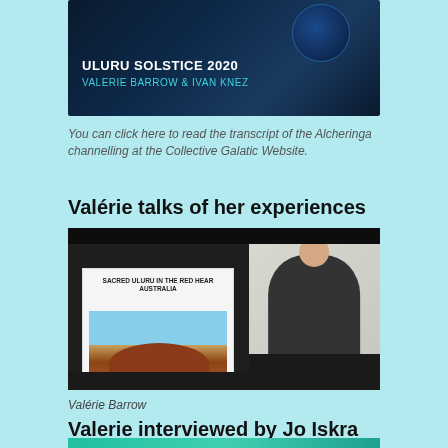[Figure (photo): Dark space-themed banner image with text 'ULURU SOLSTICE 2020' and 'VALERIE BARROW & IVAN KNEZ' in teal on dark background with planetary imagery]
You can click here to read the transcript of the Alcheringa channelling at the Collective Galatic Website.
Valérie talks of her experiences
[Figure (screenshot): Screenshot of a video presentation showing a slide titled 'SACRED ULURU IN THE RED HEART AUSTRALIA' with an image of Uluru/Ayers Rock and a person (elderly woman with glasses) visible in the top right corner]
Valérie Barrow
Valerie interviewed by Jo Iskra
[Figure (photo): Partial view of another image at the bottom, teal/turquoise colors visible]